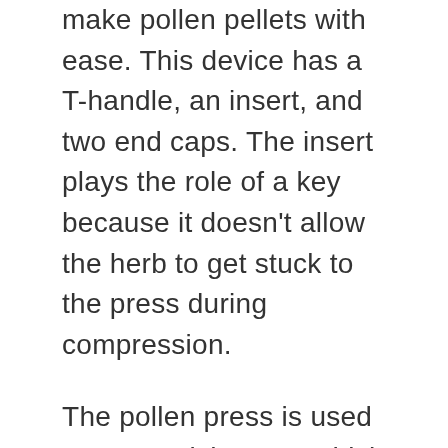make pollen pellets with ease. This device has a T-handle, an insert, and two end caps. The insert plays the role of a key because it doesn't allow the herb to get stuck to the press during compression.
The pollen press is used to press trichomes, which are gotten from the female marijuana plant. Before the trichomes are pressed, they are known as kief. They are tiny hairy appendages in plants and have various functions. However, kief in cannabis is filled with THC, and it gives the buds a frosty appearance. The compressed kief can be consumed like cannabis buds: cooked,